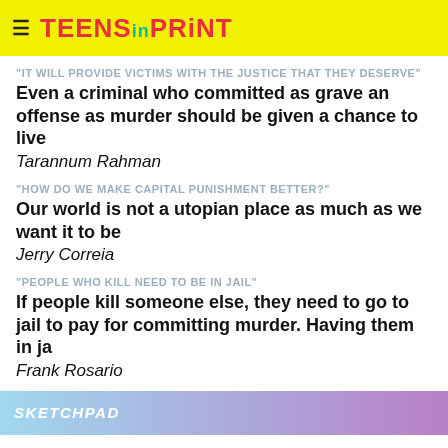TEENS in PRINT
"IT WILL PROVIDE VICTIMS WITH THE JUSTICE THAT THEY DESERVE"
Even a criminal who committed as grave an offense as murder should be given a chance to live
Tarannum Rahman
"HOW DO WE MAKE CAPITAL PUNISHMENT BETTER?"
Our world is not a utopian place as much as we want it to be
Jerry Correia
"PEOPLE WHO KILL NEED TO BE IN JAIL"
If people kill someone else, they need to go to jail to pay for committing murder. Having them in ja
Frank Rosario
SKETCHPAD
"I DRAW TO LET MY EMOTIONS OUT"
I draw to get a different view on things
Christine Freeman
"I CANNOT DO A SINGLE DRAWING WITHOUT MY MANGA"